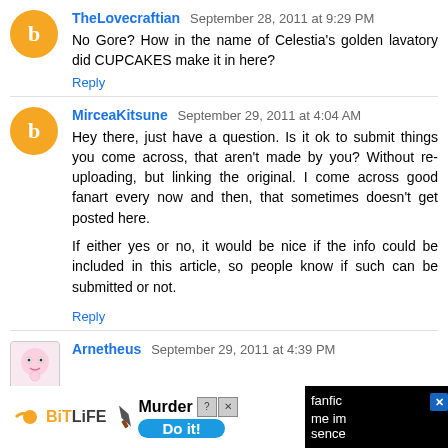TheLovecraftian — September 28, 2011 at 9:29 PM
No Gore? How in the name of Celestia's golden lavatory did CUPCAKES make it in here?
Reply
MirceaKitsune — September 29, 2011 at 4:04 AM
Hey there, just have a question. Is it ok to submit things you come across, that aren't made by you? Without re-uploading, but linking the original. I come across good fanart every now and then, that sometimes doesn't get posted here.

If either yes or no, it would be nice if the info could be included in this article, so people know if such can be submitted or not.
Reply
Arnetheus — September 29, 2011 at 4:39 PM
[Figure (screenshot): BitLife advertisement banner with Murder / Do it! call to action, with close buttons, and partial text 'fanfic... me im sence']